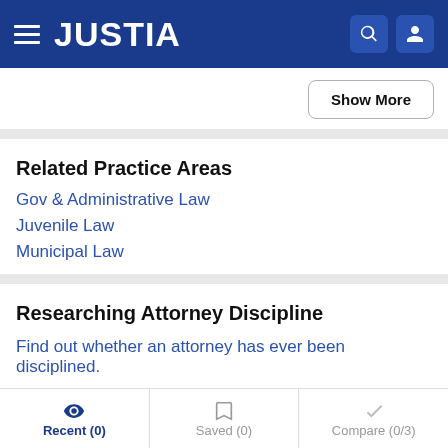JUSTIA
Show More
Related Practice Areas
Gov & Administrative Law
Juvenile Law
Municipal Law
Researching Attorney Discipline
Find out whether an attorney has ever been disciplined.
Recent (0)   Saved (0)   Compare (0/3)